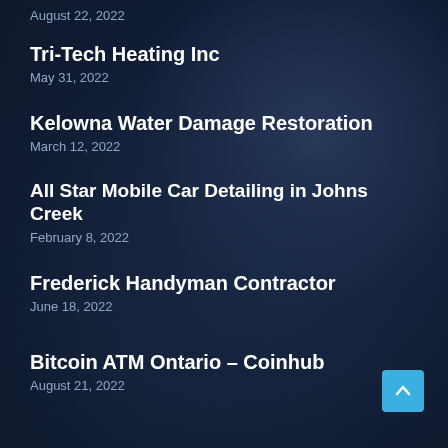August 22, 2022
Tri-Tech Heating Inc
May 31, 2022
Kelowna Water Damage Restoration
March 12, 2022
All Star Mobile Car Detailing in Johns Creek
February 8, 2022
Frederick Handyman Contractor
June 18, 2022
Bitcoin ATM Ontario – Coinhub
August 21, 2022